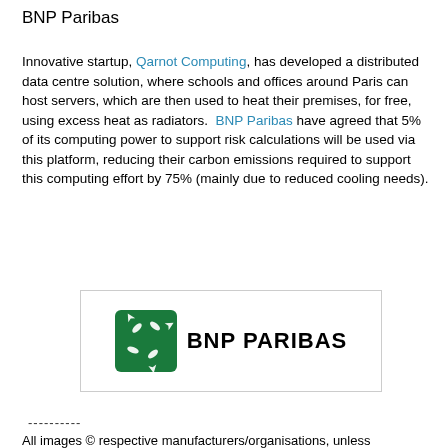BNP Paribas
Innovative startup, Qarnot Computing, has developed a distributed data centre solution, where schools and offices around Paris can host servers, which are then used to heat their premises, for free, using excess heat as radiators.  BNP Paribas have agreed that 5% of its computing power to support risk calculations will be used via this platform, reducing their carbon emissions required to support this computing effort by 75% (mainly due to reduced cooling needs).
[Figure (logo): BNP Paribas logo: green square with white arrow birds motif, followed by bold text BNP PARIBAS]
----------
All images © respective manufacturers/organisations, unless